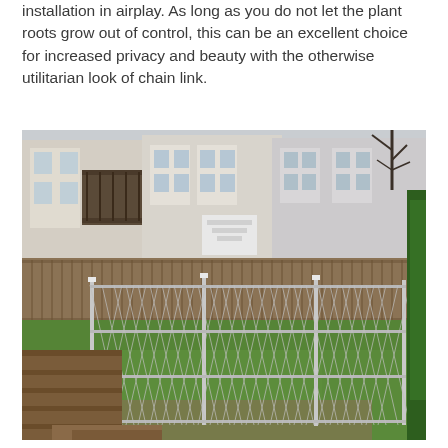installation in airplay. As long as you do not let the plant roots grow out of control, this can be an excellent choice for increased privacy and beauty with the otherwise utilitarian look of chain link.
[Figure (photo): Photograph of a backyard with a chain link fence in the foreground, a wooden privacy fence behind it, green grass lawn, wooden deck steps in the lower left, and multi-story apartment buildings visible in the background.]